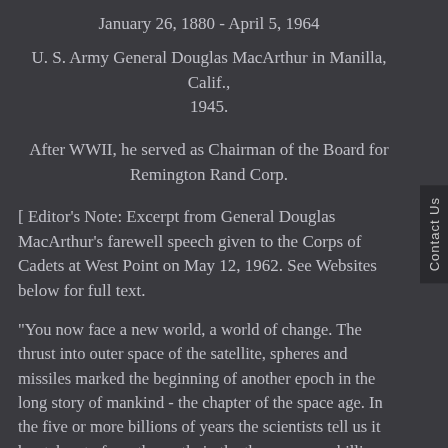January 26, 1880 - April 5, 1964
U. S. Army General Douglas MacArthur in Manilla, Calif., 1945.
After WWII, he served as Chairman of the Board for Remington Rand Corp.
[ Editor's Note: Excerpt from General Douglas MacArthur's farewell speech given to the Corps of Cadets at West Point on May 12, 1962. See Websites below for full text.
"You now face a new world, a world of change. The thrust into outer space of the satellite, spheres and missiles marked the beginning of another epoch in the long story of mankind - the chapter of the space age. In the five or more billions of years the scientists tell us it has taken to form the earth, in the three or more billion years of development of the human race, there has never been a greater, a more abrupt or staggering evolution. We deal now not with things of this world alone, but with the